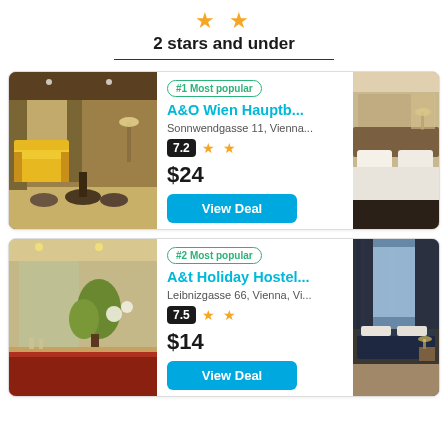2 stars and under
#1 Most popular
A&O Wien Hauptb...
Sonnwendgasse 11, Vienna...
7.2 ★★
$24
View Deal
[Figure (photo): Hotel lobby with yellow sofas and round tables]
[Figure (photo): Hotel bedroom with white bedding]
#2 Most popular
A&t Holiday Hostel...
Leibnizgasse 66, Vienna, Vi...
7.5 ★★
$14
View Deal
[Figure (photo): Hotel lobby bar area with plants]
[Figure (photo): Hotel room with dark bedding and curtains]